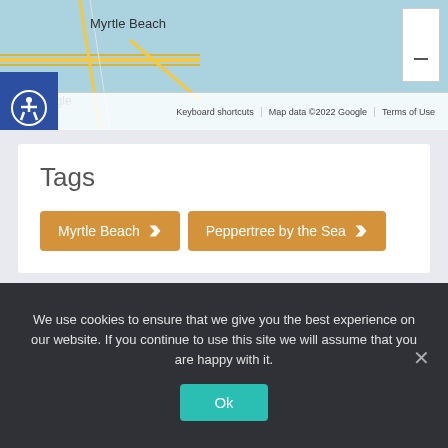[Figure (map): Google Maps screenshot showing Myrtle Beach area with light blue water and road overlay. Shows Google branding, keyboard shortcuts, map data copyright 2022 Google, and Terms of Use. A zoom control button is visible in the top right. An accessibility icon (person in circle) is on the left side.]
Tags
Myrtle Beach
Peppertree by the Sea
We use cookies to ensure that we give you the best experience on our website. If you continue to use this site we will assume that you are happy with it.